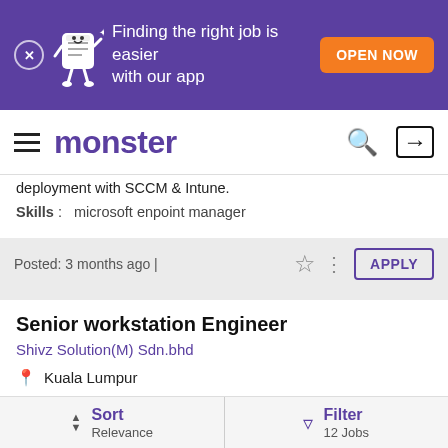[Figure (screenshot): Purple app promotion banner with mascot character, 'Finding the right job is easier with our app' text and orange 'OPEN NOW' button]
monster
deployment with SCCM & Intune.
Skills : microsoft enpoint manager
Posted: 3 months ago |
Senior workstation Engineer
Shivz Solution(M) Sdn.bhd
Kuala Lumpur
8-11 years
To perform investigation, root cause analysis, resolution and knowledge-based development for the in-scope delivery.
Sort Relevance | Filter 12 Jobs